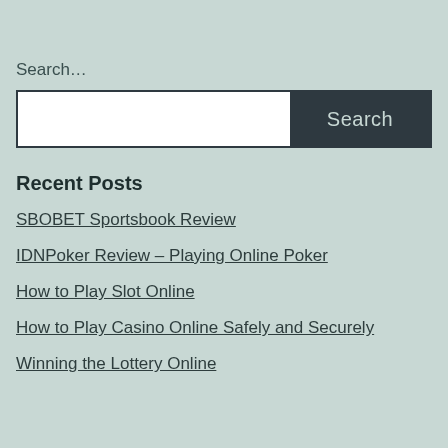Search…
[Figure (other): Search input field with white text box and dark 'Search' button]
Recent Posts
SBOBET Sportsbook Review
IDNPoker Review – Playing Online Poker
How to Play Slot Online
How to Play Casino Online Safely and Securely
Winning the Lottery Online